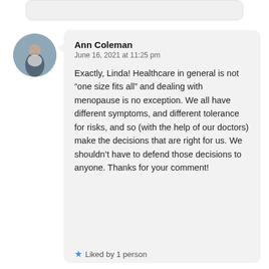[Figure (other): Circular avatar photo of Ann Coleman — a person in a light top outdoors, blurred background]
Ann Coleman
June 16, 2021 at 11:25 pm
Exactly, Linda! Healthcare in general is not “one size fits all” and dealing with menopause is no exception. We all have different symptoms, and different tolerance for risks, and so (with the help of our doctors) make the decisions that are right for us. We shouldn’t have to defend those decisions to anyone. Thanks for your comment!
Liked by 1 person